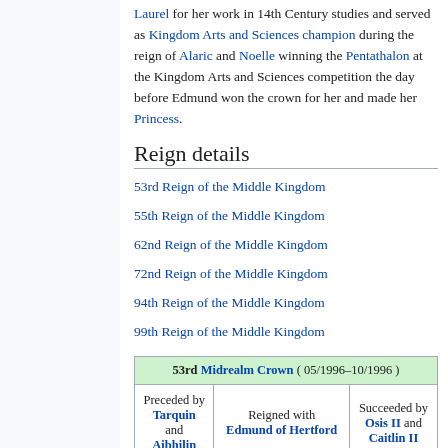Laurel for her work in 14th Century studies and served as Kingdom Arts and Sciences champion during the reign of Alaric and Noelle winning the Pentathalon at the Kingdom Arts and Sciences competition the day before Edmund won the crown for her and made her Princess.
Reign details
53rd Reign of the Middle Kingdom
55th Reign of the Middle Kingdom
62nd Reign of the Middle Kingdom
72nd Reign of the Middle Kingdom
94th Reign of the Middle Kingdom
99th Reign of the Middle Kingdom
| 53rd Midrealm Crown ( 05/1996–10/1996 ) |
| --- |
| Preceded by Tarquin and Aibhilin | Reigned with Edmund of Hertford | Succeeded by Osis II and Caitlin II |